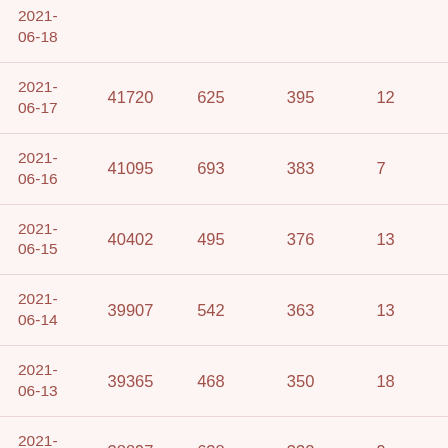| 2021-06-18 |  |  |  |
| 2021-06-17 | 41720 | 625 | 395 | 12 |
| 2021-06-16 | 41095 | 693 | 383 | 7 |
| 2021-06-15 | 40402 | 495 | 376 | 13 |
| 2021-06-14 | 39907 | 542 | 363 | 13 |
| 2021-06-13 | 39365 | 468 | 350 | 18 |
| 2021-06-12 | 38897 | 638 | 332 | 9 |
| 2021-06-11 | 38259 | 655 | 323 | 11 |